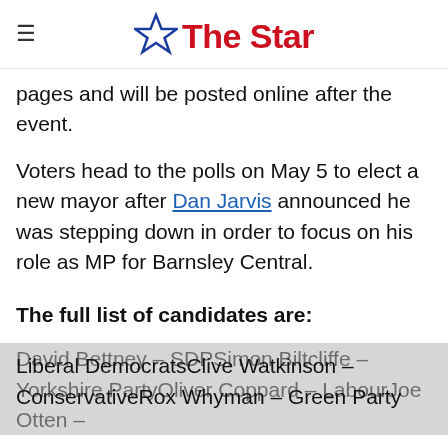≡ ☆ The Star
pages and will be posted online after the event.
Voters head to the polls on May 5 to elect a new mayor after Dan Jarvis announced he was stepping down in order to focus on his role as MP for Barnsley Central.
The full list of candidates are:
David Bettney – SDPSimon Biltcliffe – Yorkshire PartyOliver Coppard – LabourJoe Otten – Liberal DemocratsClive Watkinson – ConservativeRox Whyman – Green Party